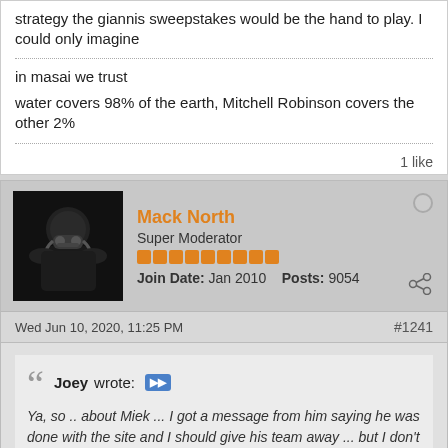strategy the giannis sweepstakes would be the hand to play. I could only imagine
in masai we trust
water covers 98% of the earth, Mitchell Robinson covers the other 2%
1 like
Mack North
Super Moderator
Join Date: Jan 2010  Posts: 9054
Wed Jun 10, 2020, 11:25 PM
#1241
Joey wrote: Ya, so .. about Miek ... I got a message from him saying he was done with the site and I should give his team away ... but I don't wanna ... I messaged him back and am hoping for a reply.